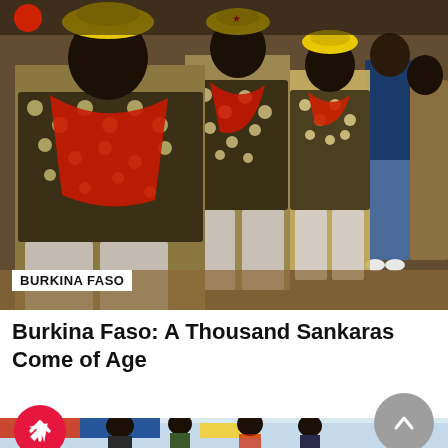[Figure (photo): Children wearing yellow berets with red stars and red scarves, dressed in polka-dot shirts, standing in a line outdoors on sandy ground in Burkina Faso]
BURKINA FASO
Burkina Faso: A Thousand Sankaras Come of Age
[Figure (photo): Partially visible bottom photo showing a crowd of people at an outdoor event with colorful flags or banners, partially obscured by UI overlay buttons]